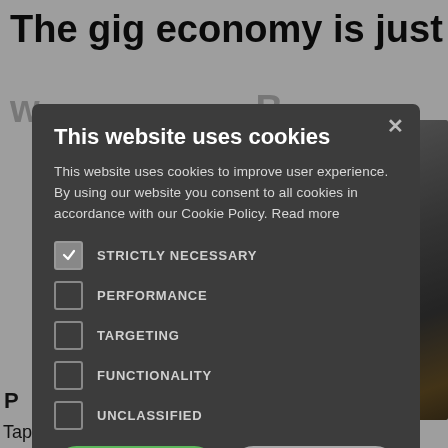The gig economy is just what
[Figure (screenshot): Cookie consent modal dialog on top of a webpage about the gig economy. The background shows a partially visible article headline and a blurred photo of a person with gray/white hair. The modal has a dark gray background with a close X button, a bold heading 'This website uses cookies', explanatory text, five checkboxes (Strictly Necessary checked, Performance unchecked, Targeting unchecked, Functionality unchecked, Unclassified unchecked), Accept All and Decline All buttons, and a Show Details link at the bottom.]
This website uses cookies to improve user experience. By using our website you consent to all cookies in accordance with our Cookie Policy. Read more
STRICTLY NECESSARY
PERFORMANCE
TARGETING
FUNCTIONALITY
UNCLASSIFIED
Tapping into the gig economy gives employers the